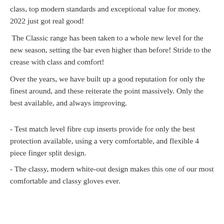class, top modern standards and exceptional value for money. 2022 just got real good!
The Classic range has been taken to a whole new level for the new season, setting the bar even higher than before! Stride to the crease with class and comfort!
Over the years, we have built up a good reputation for only the finest around, and these reiterate the point massively. Only the best available, and always improving.
- Test match level fibre cup inserts provide for only the best protection available, using a very comfortable, and flexible 4 piece finger split design.
- The classy, modern white-out design makes this one of our most comfortable and classy gloves ever.